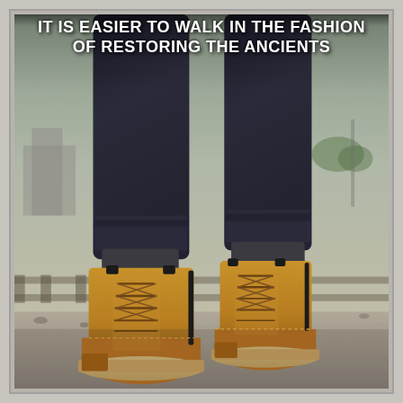[Figure (photo): Photo of a person's legs wearing dark rolled-up jeans and tan/brown lace-up work boots (similar to Timberland style), standing on concrete near railway tracks with blurred industrial background]
IT IS EASIER TO WALK IN THE FASHION OF RESTORING THE ANCIENTS